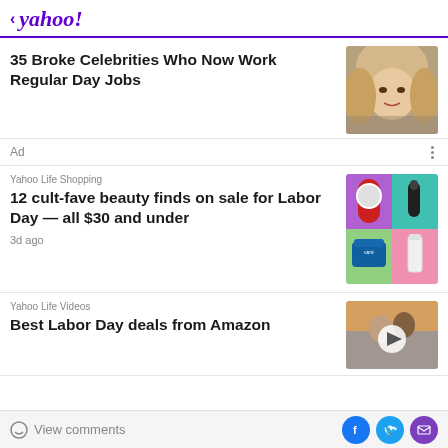< yahoo!
35 Broke Celebrities Who Now Work Regular Day Jobs
Ad
Yahoo Life Shopping
12 cult-fave beauty finds on sale for Labor Day — all $30 and under
3d ago
Yahoo Life Videos
Best Labor Day deals from Amazon
View comments